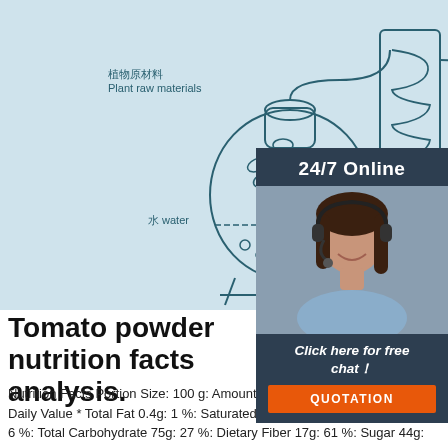[Figure (illustration): Diagram showing essential oil distillation process with Chinese/English labels: 植物原材料 Plant raw materials (vessel with leaves), 水 water (liquid in vessel), 火 fire (flame beneath vessel), a coil condenser, 精油 essential oil (bottle on right), 纯露 Hydrosol (beaker at bottom)]
[Figure (photo): 24/7 Online chat widget showing a female customer service agent with headset, dark background, with 'Click here for free chat!' text and an orange QUOTATION button]
Tomato powder nutrition facts analysis.
Nutrition Facts Portion Size: 100 g: Amount Per Portion: 302: Calories % Daily Value * Total Fat 0.4g: 1 %: Saturated Fat 0.1g: 0 %: Sodium 134mg: 6 %: Total Carbohydrate 75g: 27 %: Dietary Fiber 17g: 61 %: Sugar 44g: Protein 13g: 26 %: Vitamin D 0.00mcg: 0 %: Calcium 166.00mg: 13 %: …